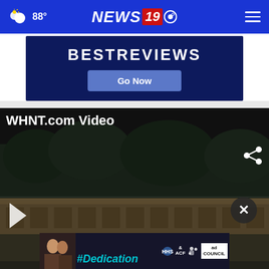88° NEWS 19
[Figure (screenshot): BestReviews advertisement banner with 'BESTREVIEWS' text and 'Go Now' button on dark navy background]
WHNT.com Video
[Figure (screenshot): Video player showing a low-light exterior view of a building with trees, share icon, close button, and a #Dedication advertisement overlay at the bottom with ACF and Ad Council logos]